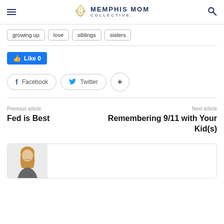Memphis Mom Collective
growing up
love
siblings
sisters
Like 0
Facebook
Twitter
Previous article
Fed is Best
Next article
Remembering 9/11 with Your Kid(s)
[Figure (photo): Author photo - woman with blonde hair smiling]